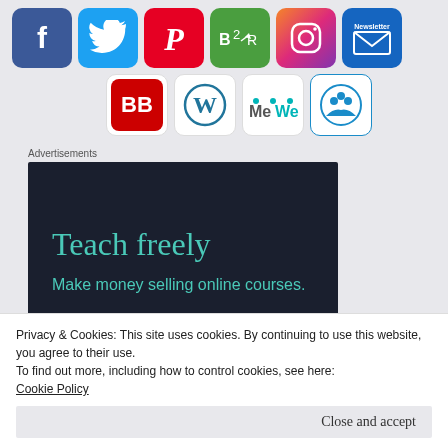[Figure (infographic): Row of 6 social media icons: Facebook (blue f), Twitter (blue bird), Pinterest (red P), B2R (green), Instagram (gradient camera), Newsletter (blue envelope). Below: BB (red), WordPress (blue W), MeWe (teal text), Group/contacts (blue icon on white).]
Advertisements
[Figure (screenshot): Dark advertisement banner with teal text reading 'Teach freely' and 'Make money selling online courses.']
Privacy & Cookies: This site uses cookies. By continuing to use this website, you agree to their use.
To find out more, including how to control cookies, see here:
Cookie Policy
Close and accept